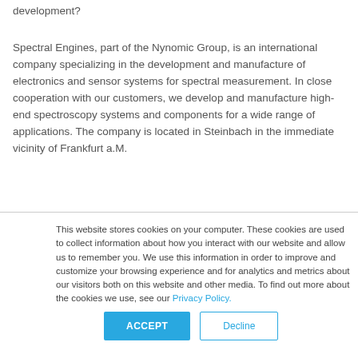development?
Spectral Engines, part of the Nynomic Group, is an international company specializing in the development and manufacture of electronics and sensor systems for spectral measurement. In close cooperation with our customers, we develop and manufacture high-end spectroscopy systems and components for a wide range of applications. The company is located in Steinbach in the immediate vicinity of Frankfurt a.M.
This website stores cookies on your computer. These cookies are used to collect information about how you interact with our website and allow us to remember you. We use this information in order to improve and customize your browsing experience and for analytics and metrics about our visitors both on this website and other media. To find out more about the cookies we use, see our Privacy Policy.